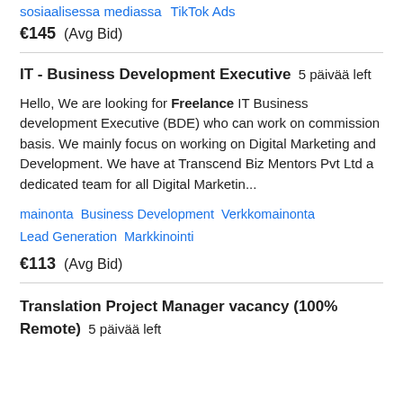sosiaalisessa mediassa   TikTok Ads
€145  (Avg Bid)
IT - Business Development Executive  5 päivää left
Hello, We are looking for Freelance IT Business development Executive (BDE) who can work on commission basis. We mainly focus on working on Digital Marketing and Development. We have at Transcend Biz Mentors Pvt Ltd a dedicated team for all Digital Marketin...
mainonta   Business Development   Verkkomainonta   Lead Generation   Markkinointi
€113  (Avg Bid)
Translation Project Manager vacancy (100% Remote)  5 päivää left